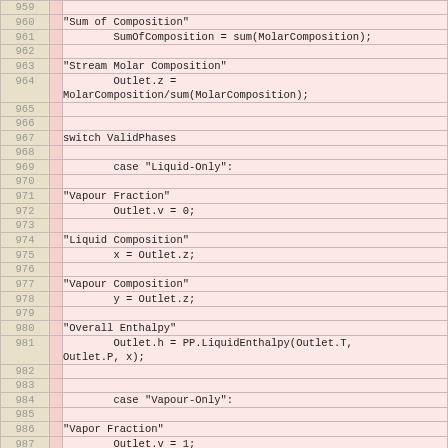| line |  | code |
| --- | --- | --- |
| 959 |  |  |
| 960 |  | "Sum of Composition" |
| 961 |  |         SumOfComposition = sum(MolarComposition); |
| 962 |  |  |
| 963 |  | "Stream Molar Composition" |
| 964 |  |         Outlet.z =
        MolarComposition/sum(MolarComposition); |
| 965 |  |  |
| 966 |  |  |
| 967 |  | switch ValidPhases |
| 968 |  |  |
| 969 |  |         case "Liquid-Only": |
| 970 |  |  |
| 971 |  | "Vapour Fraction" |
| 972 |  |         Outlet.v = 0; |
| 973 |  |  |
| 974 |  | "Liquid Composition" |
| 975 |  |         x = Outlet.z; |
| 976 |  |  |
| 977 |  | "Vapour Composition" |
| 978 |  |         y = Outlet.z; |
| 979 |  |  |
| 980 |  | "Overall Enthalpy" |
| 981 |  |         Outlet.h = PP.LiquidEnthalpy(Outlet.T,
        Outlet.P, x); |
| 982 |  |  |
| 983 |  |  |
| 984 |  |         case "Vapour-Only": |
| 985 |  |  |
| 986 |  | "Vapor Fraction" |
| 987 |  |         Outlet.v = 1; |
| 988 |  |  |
| 989 |  | "Liquid Composition" |
| 990 |  |         x = Outlet.z; |